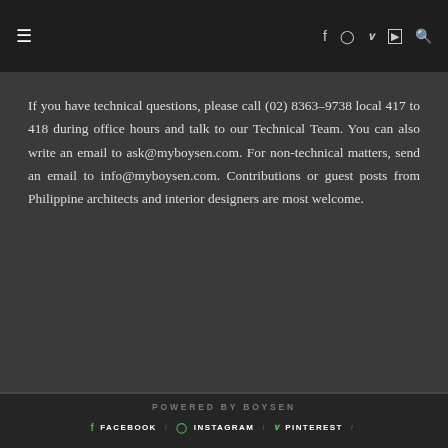≡  f  ⊙  p  ▶  🔍
If you have technical questions, please call (02) 8363-9738 local 417 to 418 during office hours and talk to our Technical Team. You can also write an email to ask@myboysen.com. For non-technical matters, send an email to info@myboysen.com. Contributions or guest posts from Philippine architects and interior designers are most welcome.
POWERED BY BOYSEN  FACEBOOK / INSTAGRAM / PINTEREST /